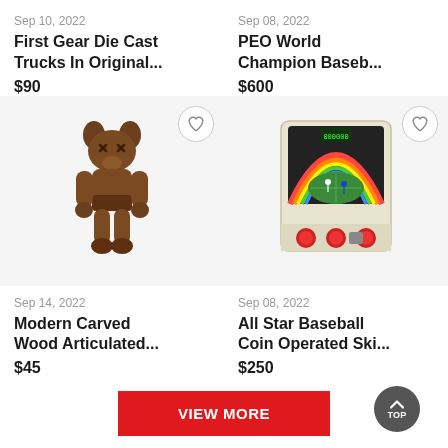Sep 10, 2022
First Gear Die Cast Trucks In Original...
$90
Sep 08, 2022
PEO World Champion Baseb...
$600
[Figure (photo): Brown carved wood articulated bear/character figure (KAWS-style) standing upright]
[Figure (photo): All Star Baseball coin operated skill game machine with colorful baseball-themed graphics and red buttons]
Sep 14, 2022
Modern Carved Wood Articulated...
$45
Sep 08, 2022
All Star Baseball Coin Operated Ski...
$250